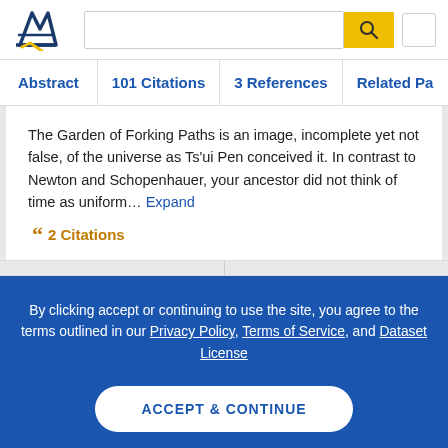Semantic Scholar header with logo, search box, and navigation tabs: Abstract, 101 Citations, 3 References, Related Pa...
The Garden of Forking Paths is an image, incomplete yet not false, of the universe as Ts'ui Pen conceived it. In contrast to Newton and Schopenhauer, your ancestor did not think of time as uniform…
2 Citations
By clicking accept or continuing to use the site, you agree to the terms outlined in our Privacy Policy, Terms of Service, and Dataset License
ACCEPT & CONTINUE